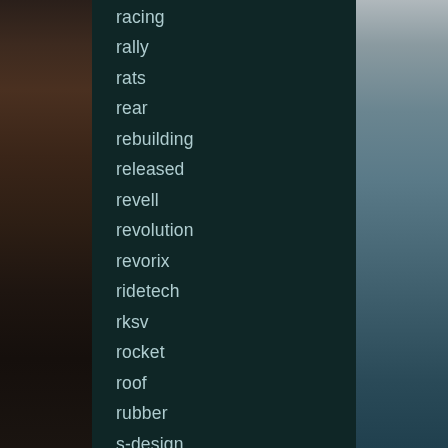racing
rally
rats
rear
rebuilding
released
revell
revolution
revorix
ridetech
rksv
rocket
roof
rubber
s-design
sale
satin
secret
selling